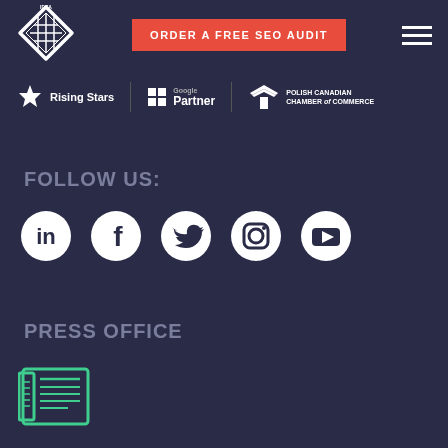[Figure (logo): IDEA company logo - white diamond/rhombus shape with grid pattern on dark navy background]
[Figure (other): ORDER A FREE SEO AUDIT button in red/coral color]
[Figure (other): Hamburger menu icon - three white horizontal lines]
[Figure (other): Partner logos row: Rising Stars, Google Partner, Polish Canadian Chamber of Commerce]
FOLLOW US:
[Figure (other): Social media icons row: LinkedIn, Facebook, Twitter, Instagram, YouTube - all white on dark circular backgrounds]
PRESS OFFICE
[Figure (other): Press office newspaper icon in green outline style]